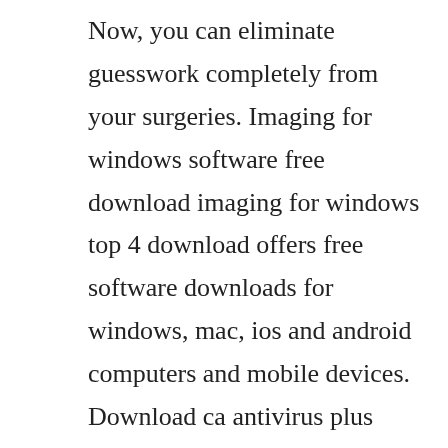Now, you can eliminate guesswork completely from your surgeries. Imaging for windows software free download imaging for windows top 4 download offers free software downloads for windows, mac, ios and android computers and mobile devices. Download ca antivirus plus antispyware 2010 crack peggys. Trusted windows pc download global 360 imaging for the web 4. It has been a traditional for symantec to partner with various companies in giving away free security software, usually it comes with either 90 day or 180. Global 360 elearning provides